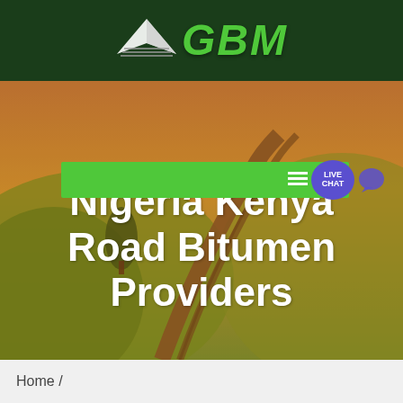[Figure (logo): GBM company logo with arrow/kite graphic in white on dark green background, with green stylized italic GBM text]
[Figure (screenshot): Green navigation bar with hamburger menu icon and Live Chat purple badge button on right side]
[Figure (photo): Aerial photo of curved road through agricultural fields at sunset with warm golden tones]
Nigeria Kenya Road Bitumen Providers
Home /